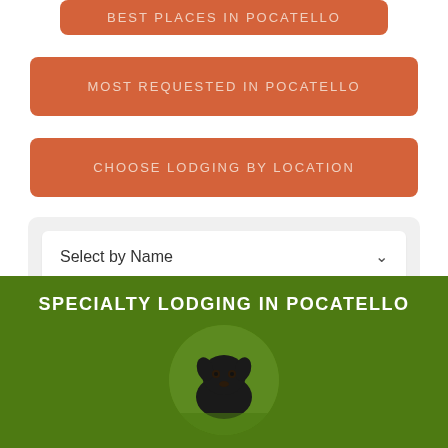[Figure (screenshot): Orange button labeled BEST PLACES IN POCATELLO]
[Figure (screenshot): Orange button labeled MOST REQUESTED IN POCATELLO]
[Figure (screenshot): Orange button labeled CHOOSE LODGING BY LOCATION]
[Figure (screenshot): Dropdown selector labeled Select by Name inside a light gray panel]
SPECIALTY LODGING IN POCATELLO
[Figure (photo): Circular photo of a black dog sitting in green grass on a dark olive green background]